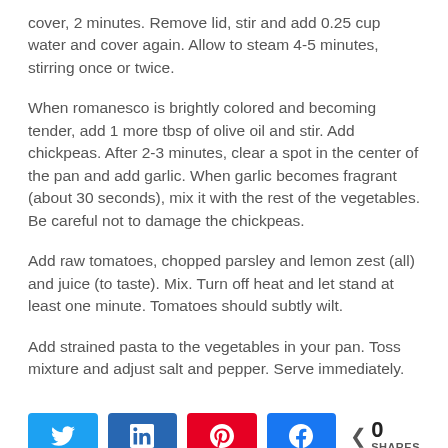cover, 2 minutes. Remove lid, stir and add 0.25 cup water and cover again. Allow to steam 4-5 minutes, stirring once or twice.
When romanesco is brightly colored and becoming tender, add 1 more tbsp of olive oil and stir. Add chickpeas. After 2-3 minutes, clear a spot in the center of the pan and add garlic. When garlic becomes fragrant (about 30 seconds), mix it with the rest of the vegetables. Be careful not to damage the chickpeas.
Add raw tomatoes, chopped parsley and lemon zest (all) and juice (to taste). Mix. Turn off heat and let stand at least one minute. Tomatoes should subtly wilt.
Add strained pasta to the vegetables in your pan. Toss mixture and adjust salt and pepper. Serve immediately.
[Figure (infographic): Social sharing buttons: Twitter (blue), LinkedIn (dark blue), Pinterest (red), Facebook (blue), and a share count showing 0 SHARES]